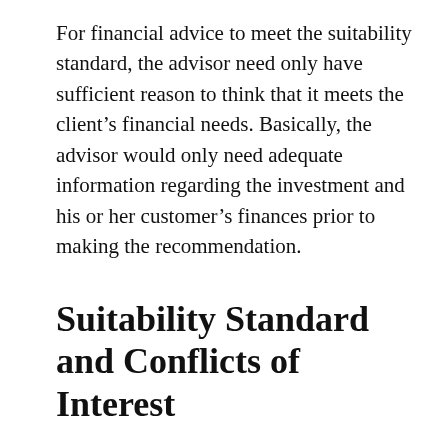For financial advice to meet the suitability standard, the advisor need only have sufficient reason to think that it meets the client's financial needs. Basically, the advisor would only need adequate information regarding the investment and his or her customer's finances prior to making the recommendation.
Suitability Standard and Conflicts of Interest